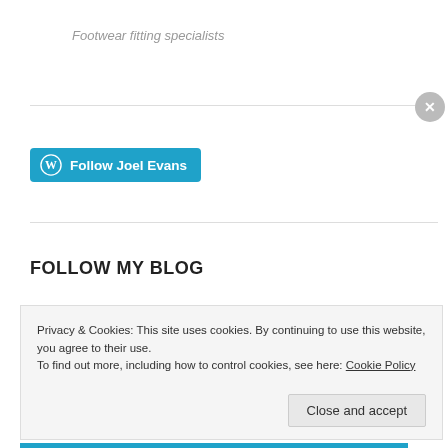Footwear fitting specialists
[Figure (other): WordPress Follow button - blue rounded button with WordPress logo and text 'Follow Joel Evans']
FOLLOW MY BLOG
Enter your email address and you will receive updates of my mountain adventures
Privacy & Cookies: This site uses cookies. By continuing to use this website, you agree to their use.
To find out more, including how to control cookies, see here: Cookie Policy
Close and accept